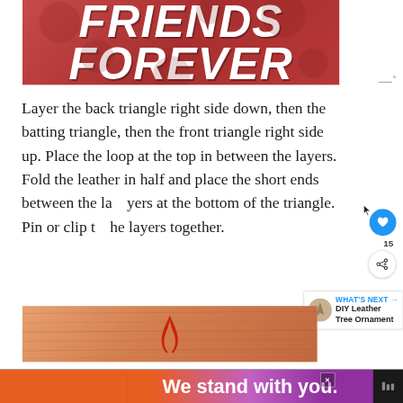[Figure (illustration): Red banner with bold italic white text reading FRIENDS FOREVER on two lines, decorative floral pattern in background]
Layer the back triangle right side down, then the batting triangle, then the front triangle right side up. Place the loop at the top in between the layers. Fold the leather in half and place the short ends between the layers at the bottom of the triangle. Pin or clip the layers together.
[Figure (photo): Wood surface with red scissors or craft tool visible, partial craft project photo]
[Figure (infographic): Advertisement banner: orange/purple gradient reading We stand with you. with close button]